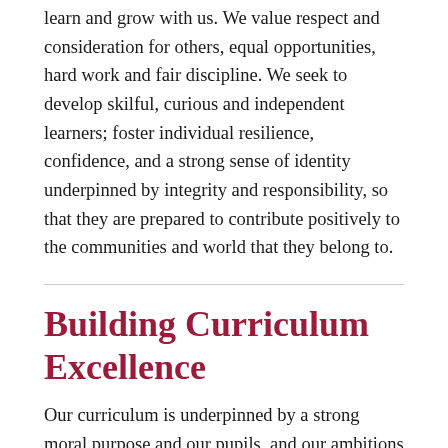learn and grow with us. We value respect and consideration for others, equal opportunities, hard work and fair discipline. We seek to develop skilful, curious and independent learners; foster individual resilience, confidence, and a strong sense of identity underpinned by integrity and responsibility, so that they are prepared to contribute positively to the communities and world that they belong to.
Building Curriculum Excellence
Our curriculum is underpinned by a strong moral purpose and our pupils, and our ambitions for them, will always be at the heart of our thinking and at the forefront of our actions.